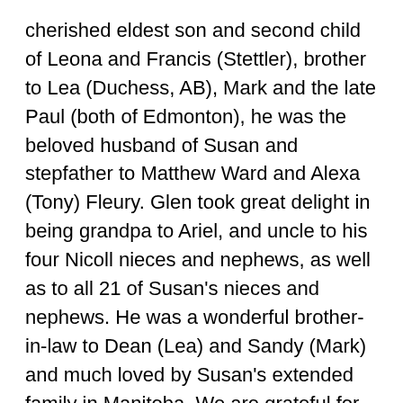cherished eldest son and second child of Leona and Francis (Stettler), brother to Lea (Duchess, AB), Mark and the late Paul (both of Edmonton), he was the beloved husband of Susan and stepfather to Matthew Ward and Alexa (Tony) Fleury. Glen took great delight in being grandpa to Ariel, and uncle to his four Nicoll nieces and nephews, as well as to all 21 of Susan's nieces and nephews. He was a wonderful brother-in-law to Dean (Lea) and Sandy (Mark) and much loved by Susan's extended family in Manitoba. We are grateful for the humour, wisdom and passion he shared with all he met. He will be greatly missed. Glen grew up in Stettler and graduated from Wm. E. Hay Composite High School in 1973, where he very much enjoyed participating in band, choir and drama programs. He had roles in several musical productions there, and later graduated from SAIT with a diploma in Television, Stage and Radio Arts. The first part of his working career was spent as a news film...